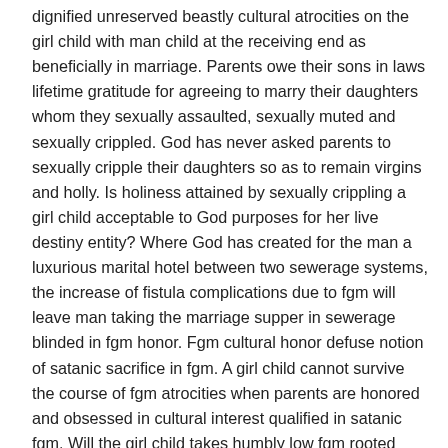dignified unreserved beastly cultural atrocities on the girl child with man child at the receiving end as beneficially in marriage. Parents owe their sons in laws lifetime gratitude for agreeing to marry their daughters whom they sexually assaulted, sexually muted and sexually crippled. God has never asked parents to sexually cripple their daughters so as to remain virgins and holly. Is holiness attained by sexually crippling a girl child acceptable to God purposes for her live destiny entity? Where God has created for the man a luxurious marital hotel between two sewerage systems, the increase of fistula complications due to fgm will leave man taking the marriage supper in sewerage blinded in fgm honor. Fgm cultural honor defuse notion of satanic sacrifice in fgm. A girl child cannot survive the course of fgm atrocities when parents are honored and obsessed in cultural interest qualified in satanic fgm. Will the girl child takes humbly low fgm rooted satanic cultural castration slavery in honor of womanhood? It will only take Brothers in Christ to have a standoff with satan in fgm to have Christians parents blinded in fgm honor realize their